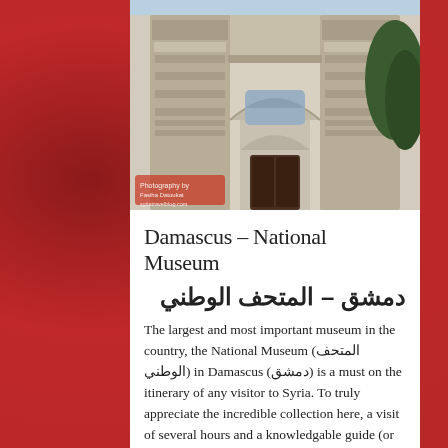[Figure (photo): Photograph of the Damascus National Museum entrance facade, showing ornate carved stone towers and archways, with a watermark in the lower left corner.]
Damascus – National Museum
دمشق – المتحف الوطني
The largest and most important museum in the country, the National Museum (المتحف الوطني) in Damascus (دمشق) is a must on the itinerary of any visitor to Syria. To truly appreciate the incredible collection here, a visit of several hours and a knowledgable guide (or quality guidebook) is recommended. The museum